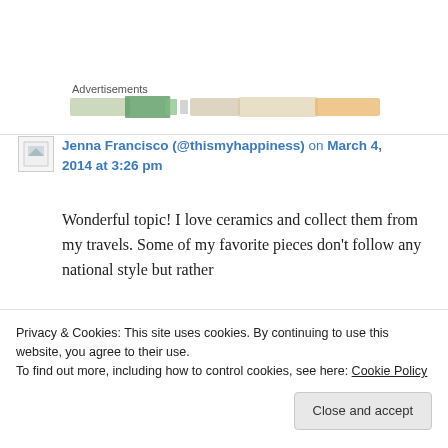Advertisements
[Figure (illustration): Advertisement banner with colorful food/travel imagery including greens, oranges and yellows]
Jenna Francisco (@thismyhappiness) on March 4, 2014 at 3:26 pm
Wonderful topic! I love ceramics and collect them from my travels. Some of my favorite pieces don't follow any national style but rather
Privacy & Cookies: This site uses cookies. By continuing to use this website, you agree to their use.
To find out more, including how to control cookies, see here: Cookie Policy
Close and accept
Reply